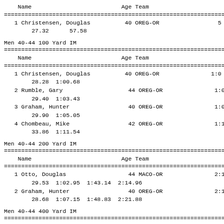| Name | Age | Team |
| --- | --- | --- |
| 1 Christensen, Douglas | 40 | OREG-OR | 5... |
|   27.32    57.58 |  |  |  |
Men 40-44 100 Yard IM
| Name | Age | Team |
| --- | --- | --- |
| 1 Christensen, Douglas | 40 | OREG-OR | 1:0... |
|   28.28  1:00.68 |  |  |  |
| 2 Rumble, Gary | 44 | OREG-OR | 1:0... |
|   29.40  1:03.43 |  |  |  |
| 3 Graham, Hunter | 40 | OREG-OR | 1:0... |
|   29.90  1:05.05 |  |  |  |
| 4 Chombeau, Mike | 42 | OREG-OR | 1:1... |
|   33.86  1:11.54 |  |  |  |
Men 40-44 200 Yard IM
| Name | Age | Team |
| --- | --- | --- |
| 1 Otto, Douglas | 44 | MACO-OR | 2:1... |
|   29.53  1:02.95  1:43.14  2:14.96 |  |  |  |
| 2 Graham, Hunter | 40 | OREG-OR | 2:1... |
|   28.68  1:07.15  1:48.83  2:21.88 |  |  |  |
Men 40-44 400 Yard IM
| Name | Age | Team |
| --- | --- | --- |